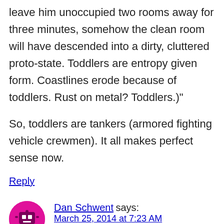leave him unoccupied two rooms away for three minutes, somehow the clean room will have descended into a dirty, cluttered proto-state. Toddlers are entropy given form. Coastlines erode because of toddlers. Rust on metal? Toddlers.)"
So, toddlers are tankers (armored fighting vehicle crewmen). It all makes perfect sense now.
Reply
Dan Schwent says: March 25, 2014 at 7:23 AM
Blaine is a pain and that's the truth.